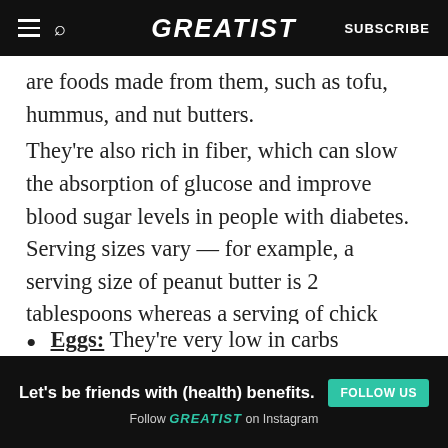GREATIST | SUBSCRIBE
are foods made from them, such as tofu, hummus, and nut butters.
They’re also rich in fiber, which can slow the absorption of glucose and improve blood sugar levels in people with diabetes. Serving sizes vary — for example, a serving size of peanut butter is 2 tablespoons whereas a serving of chick peas is ½ cup — so check labels.
Eggs: They’re very low in carbs — one large egg has about half a gram — and boast 7
ADVERTISEMENT
[Figure (infographic): Advertisement banner: Let’s be friends with (health) benefits. Follow GREATIST on Instagram. FOLLOW US button.]